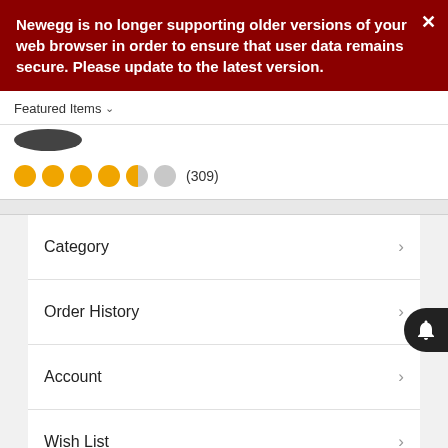Newegg is no longer supporting older versions of your web browser in order to ensure that user data remains secure. Please update to the latest version.
Featured Items
[Figure (other): Partial product image showing a dark oval/disc shape (top of a product like a hard drive or pan)]
●●●●●○ (309)
Category
Order History
Account
Wish List
Recently Viewed Items
Feedback